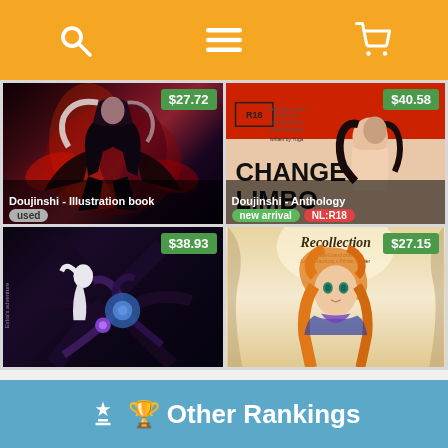[Figure (screenshot): Orange navigation bar with search, menu, and cart icons]
[Figure (illustration): Doujinshi illustration book cover - dark fantasy anime character with fire/dark energy. Price: $27.72. Tagged as 'used'.]
[Figure (illustration): Doujinshi anthology cover - 'CHANGE LIMBO' with R18 label and anime characters. Price: $40.58. Tagged as 'new arrival' and 'NL:R18'.]
[Figure (illustration): Doujinshi cover - dark fantasy anime characters with purple/blue tones. Price: $38.93.]
[Figure (illustration): Doujinshi cover - 'Recollection' with orange-haired anime girl. Price: $27.15.]
🏆 Other Rankings